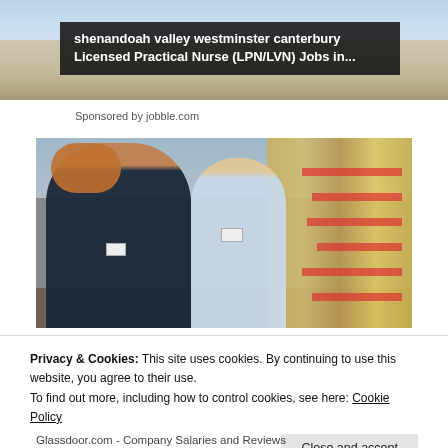[Figure (photo): Advertisement banner partially visible at top showing a blurred background image with a dark overlay title box reading 'shenandoah valley westminster canterbury Licensed Practical Nurse (LPN/LVN) Jobs in...']
Sponsored by jobble.com
[Figure (photo): Photo of two retail/grocery store employees — a woman with curly red hair wearing a dark blazer and a young man in a light blue shirt with a name badge — standing in a grocery store aisle with shelves of products visible behind them.]
Privacy & Cookies: This site uses cookies. By continuing to use this website, you agree to their use.
To find out more, including how to control cookies, see here: Cookie Policy
Close and accept
Glassdoor.com - Company Salaries and Reviews